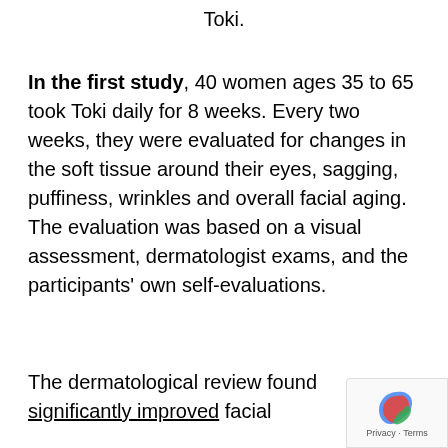Toki.
In the first study, 40 women ages 35 to 65 took Toki daily for 8 weeks. Every two weeks, they were evaluated for changes in the soft tissue around their eyes, sagging, puffiness, wrinkles and overall facial aging. The evaluation was based on a visual assessment, dermatologist exams, and the participants' own self-evaluations.
The dermatological review found significantly improved facial aging after 8 weeks.